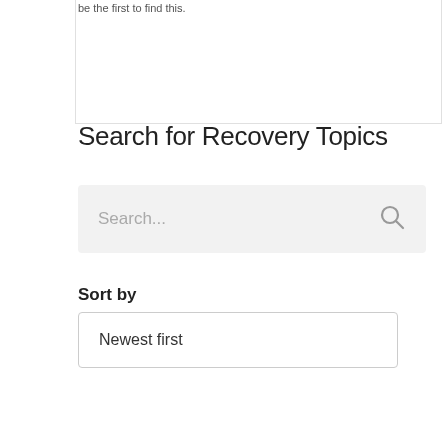be the first to find this.
Search for Recovery Topics
[Figure (screenshot): Search input box with placeholder text 'Search...' and a search icon on the right, on a light grey background]
Sort by
[Figure (screenshot): Dropdown selector showing 'Newest first' option with a border]